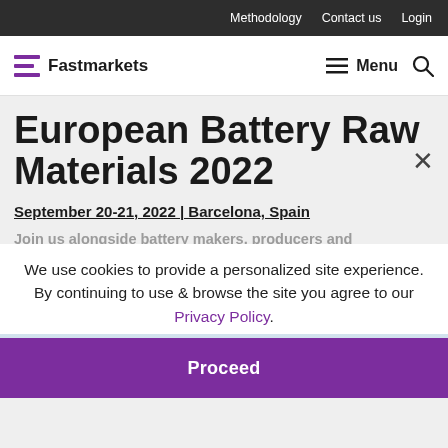Methodology  Contact us  Login
[Figure (logo): Fastmarkets logo with purple F icon and wordmark]
Menu
European Battery Raw Materials 2022
September 20-21, 2022 | Barcelona, Spain
Join us alongside battery makers, producers and automakers to discuss the future of battery raw materials in Europe.
We use cookies to provide a personalized site experience.
By continuing to use & browse the site you agree to our Privacy Policy.
Proceed